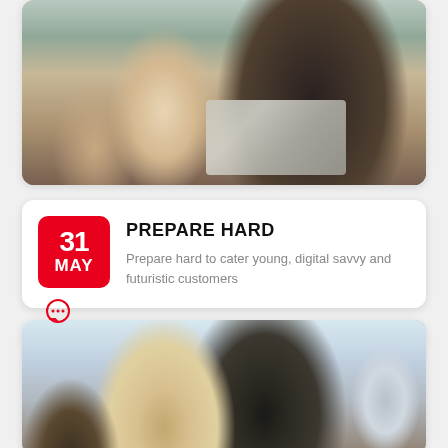[Figure (photo): Photo of a business meeting: two people with backs toward camera meeting with a suited man with laptop and a small potted plant on a wooden table]
31 MAY
PREPARE HARD
Prepare hard to cater young, digital savvy and futuristic customers
[Figure (photo): Photo of a group of young business professionals smiling and talking at a meeting table, one man in suit and tie in center]